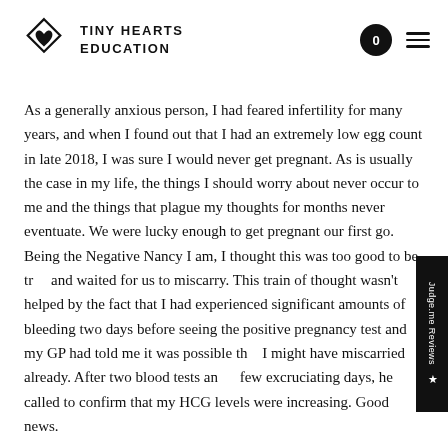TINY HEARTS EDUCATION
As a generally anxious person, I had feared infertility for many years, and when I found out that I had an extremely low egg count in late 2018, I was sure I would never get pregnant. As is usually the case in my life, the things I should worry about never occur to me and the things that plague my thoughts for months never eventuate. We were lucky enough to get pregnant our first go. Being the Negative Nancy I am, I thought this was too good to be true and waited for us to miscarry. This train of thought wasn't helped by the fact that I had experienced significant amounts of bleeding two days before seeing the positive pregnancy test and my GP had told me it was possible that I might have miscarried already. After two blood tests and a few excruciating days, he called to confirm that my HCG levels were increasing. Good news.